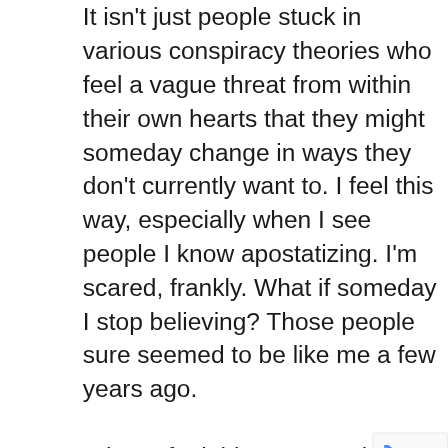It isn't just people stuck in various conspiracy theories who feel a vague threat from within their own hearts that they might someday change in ways they don't currently want to. I feel this way, especially when I see people I know apostatizing. I'm scared, frankly. What if someday I stop believing? Those people sure seemed to be like me a few years ago.

When I feel this way, I go back to the brass tacks of the Bible. I go to God, I run to Christ, I know